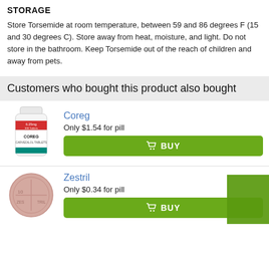STORAGE
Store Torsemide at room temperature, between 59 and 86 degrees F (15 and 30 degrees C). Store away from heat, moisture, and light. Do not store in the bathroom. Keep Torsemide out of the reach of children and away from pets.
Customers who bought this product also bought
[Figure (photo): Bottle of Coreg medication]
Coreg
Only $1.54 for pill
[Figure (photo): Zestril pill tablet]
Zestril
Only $0.34 for pill